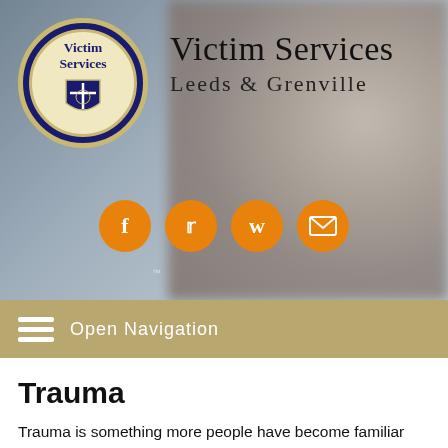[Figure (logo): Victim Services organization logo - circular blue and gold badge with shield emblem and text 'Victim Services' with laurel wreath, followed by large text 'Victim Services Leeds & Grenville' on a blurred background showing hands]
Open Navigation
Trauma
Trauma is something more people have become familiar with over the past while.  You see the word used in advertising, articles, people use it when trying to describe an event or feelings.  As a general rule, being traumatized by an event